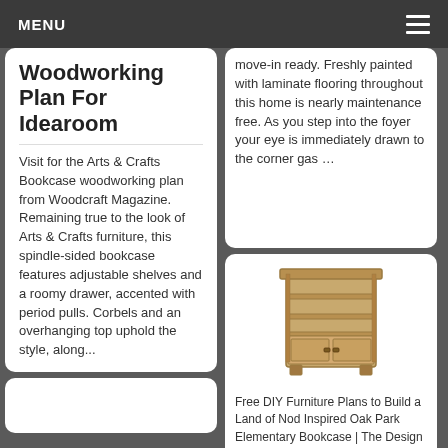MENU
Woodworking Plan For Idearoom
Visit for the Arts & Crafts Bookcase woodworking plan from Woodcraft Magazine. Remaining true to the look of Arts & Crafts furniture, this spindle-sided bookcase features adjustable shelves and a roomy drawer, accented with period pulls. Corbels and an overhanging top uphold the style, along...
move-in ready. Freshly painted with laminate flooring throughout this home is nearly maintenance free. As you step into the foyer your eye is immediately drawn to the corner gas …
[Figure (illustration): A wooden bookcase with shelves and cabinet doors at the bottom, illustrated in a warm tan/brown color.]
Free DIY Furniture Plans to Build a Land of Nod Inspired Oak Park Elementary Bookcase | The Design Confidential